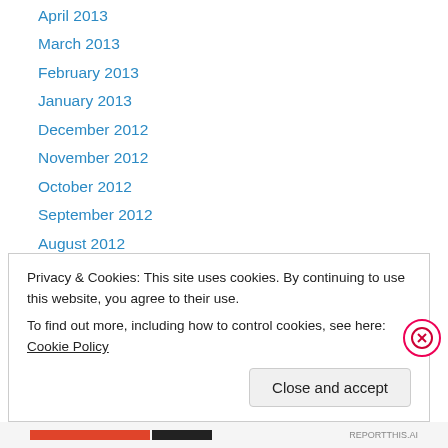April 2013
March 2013
February 2013
January 2013
December 2012
November 2012
October 2012
September 2012
August 2012
May 2012
April 2012
March 2012
February 2012
Privacy & Cookies: This site uses cookies. By continuing to use this website, you agree to their use. To find out more, including how to control cookies, see here: Cookie Policy
Close and accept